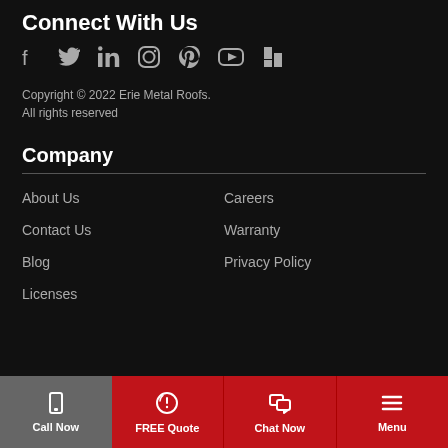Connect With Us
[Figure (infographic): Social media icons: Facebook, Twitter, LinkedIn, Instagram, Pinterest, YouTube, Houzz]
Copyright © 2022 Erie Metal Roofs.
All rights reserved
Company
About Us
Careers
Contact Us
Warranty
Blog
Privacy Policy
Licenses
Call Now | FREE Quote | Chat Now | Menu